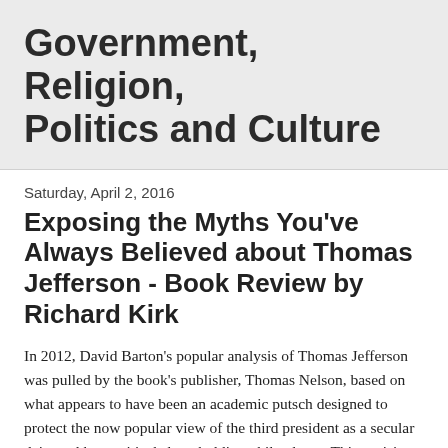Government, Religion, Politics and Culture
Saturday, April 2, 2016
Exposing the Myths You've Always Believed about Thomas Jefferson - Book Review by Richard Kirk
In 2012, David Barton's popular analysis of Thomas Jefferson was pulled by the book's publisher, Thomas Nelson, based on what appears to have been an academic putsch designed to protect the now popular view of the third president as a secular deist and hypocritical slave-holding philanderer. This uprising was led by a motley intellectual crew who, for the most part, had little or no expertise in the subject matter at issue.
The re-release of The Jefferson Lies by WND Books begins with an